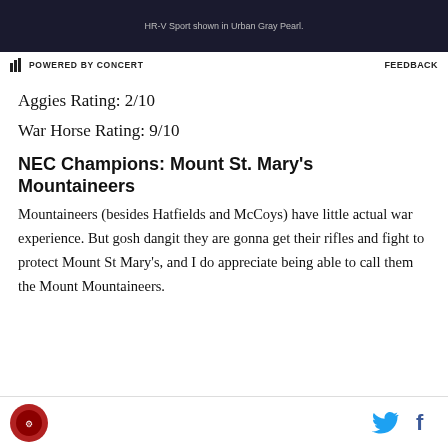[Figure (screenshot): Dark advertisement bar with text 'HR-V Sport shown in Urban Gray Pearl.']
⚡ POWERED BY CONCERT    FEEDBACK
Aggies Rating: 2/10
War Horse Rating: 9/10
NEC Champions: Mount St. Mary's Mountaineers
Mountaineers (besides Hatfields and McCoys) have little actual war experience. But gosh dangit they are gonna get their rifles and fight to protect Mount St Mary's, and I do appreciate being able to call them the Mount Mountaineers.
[Figure (logo): Site logo circle with emblem, and social media icons (Twitter bird, Facebook f)]